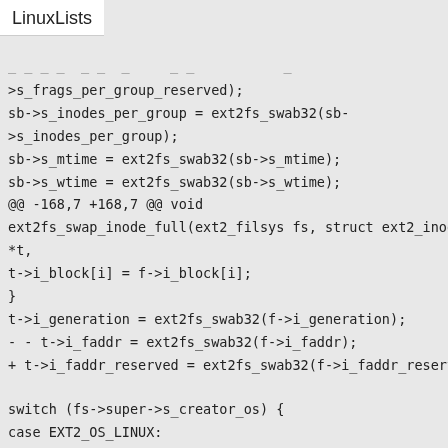LinuxLists
>s_frags_per_group_reserved);
sb->s_inodes_per_group = ext2fs_swab32(sb-
>s_inodes_per_group);
sb->s_mtime = ext2fs_swab32(sb->s_mtime);
sb->s_wtime = ext2fs_swab32(sb->s_wtime);
@@ -168,7 +168,7 @@ void
ext2fs_swap_inode_full(ext2_filsys fs, struct ext2_inode_large
*t,
t->i_block[i] = f->i_block[i];
}
t->i_generation = ext2fs_swab32(f->i_generation);
- - t->i_faddr = ext2fs_swab32(f->i_faddr);
+ t->i_faddr_reserved = ext2fs_swab32(f->i_faddr_reserved);

switch (fs->super->s_creator_os) {
case EXT2_OS_LINUX: